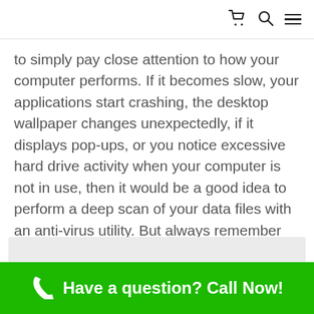[cart icon] [search icon] [menu icon]
to simply pay close attention to how your computer performs. If it becomes slow, your applications start crashing, the desktop wallpaper changes unexpectedly, if it displays pop-ups, or you notice excessive hard drive activity when your computer is not in use, then it would be a good idea to perform a deep scan of your data files with an anti-virus utility. But always remember that nothing is foolproof. Computer viruses are constantly changing and so are the techniques that are used to spread them.
Have a question? Call Now!